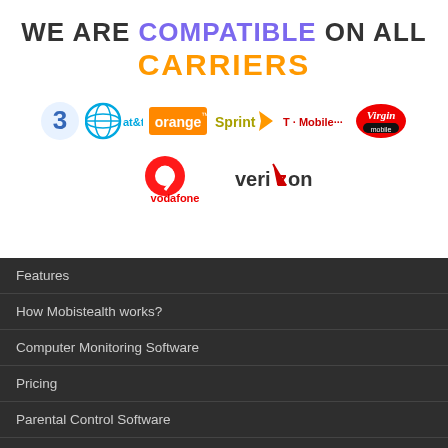WE ARE COMPATIBLE ON ALL CARRIERS
[Figure (logo): Carrier logos: 3, AT&T, Orange, Sprint, T-Mobile, Virgin Mobile, Vodafone, Verizon]
Features
How Mobistealth works?
Computer Monitoring Software
Pricing
Parental Control Software
Employee Monitoring Software
Cell Phone Tracker